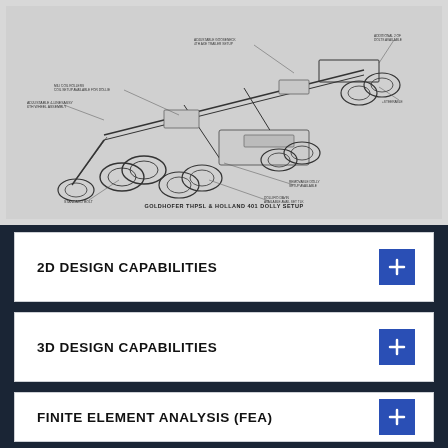[Figure (engineering-diagram): Isometric technical line drawing of a Goldhofer THPSL & Holland 401 dolly setup, a heavy transport trailer/dolly system with multiple axles and wheels, annotated with callout labels pointing to various components.]
GOLDHOFER THPSL & HOLLAND 401 DOLLY SETUP
2D DESIGN CAPABILITIES
3D DESIGN CAPABILITIES
FINITE ELEMENT ANALYSIS (FEA)